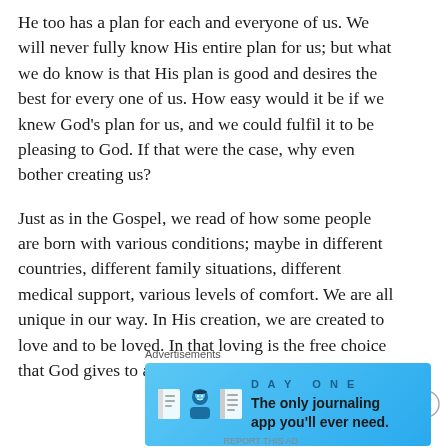He too has a plan for each and everyone of us. We will never fully know His entire plan for us; but what we do know is that His plan is good and desires the best for every one of us. How easy would it be if we knew God's plan for us, and we could fulfil it to be pleasing to God. If that were the case, why even bother creating us?
Just as in the Gospel, we read of how some people are born with various conditions; maybe in different countries, different family situations, different medical support, various levels of comfort. We are all unique in our way. In His creation, we are created to love and to be loved. In that loving is the free choice that God gives to all
Advertisements
[Figure (other): Day One journaling app advertisement banner with blue gradient background, app icons, and text: 'DAY ONE — The only journaling app you'll ever need.']